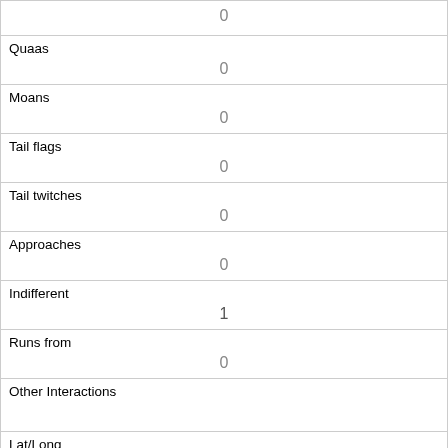| (no label) | 0 |
| Quaas | 0 |
| Moans | 0 |
| Tail flags | 0 |
| Tail twitches | 0 |
| Approaches | 0 |
| Indifferent | 1 |
| Runs from | 0 |
| Other Interactions |  |
| Lat/Long | POINT (-73.9708969246276 40.7767695507462) |
| Link |  |